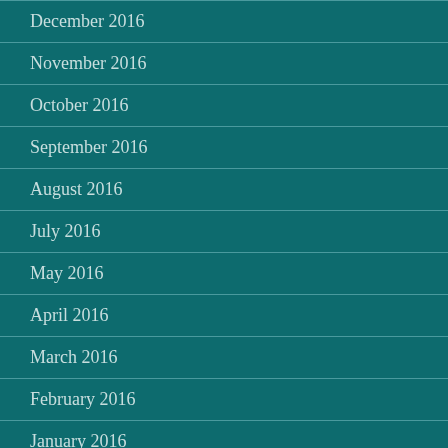December 2016
November 2016
October 2016
September 2016
August 2016
July 2016
May 2016
April 2016
March 2016
February 2016
January 2016
Categories